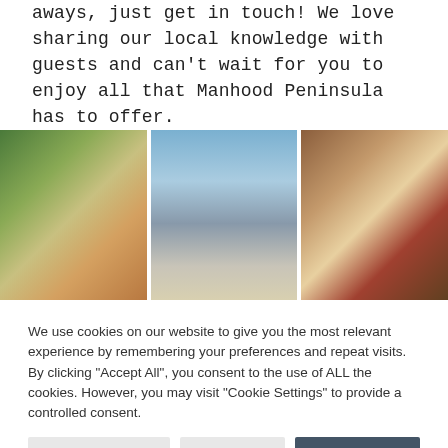aways, just get in touch! We love sharing our local knowledge with guests and can't wait for you to enjoy all that Manhood Peninsula has to offer.
[Figure (photo): Three photos side by side: left shows a mesh bag with vegetables and a jar labeled CARAPELLI Vegan Tzatziki; center shows a beach hut or surf school building with ocean in background and a chalkboard sign; right shows a wooden board with cheese, charcuterie, olives, and condiments arranged as a grazing platter.]
We use cookies on our website to give you the most relevant experience by remembering your preferences and repeat visits. By clicking "Accept All", you consent to the use of ALL the cookies. However, you may visit "Cookie Settings" to provide a controlled consent.
Cookie Settings | Reject All | Accept All